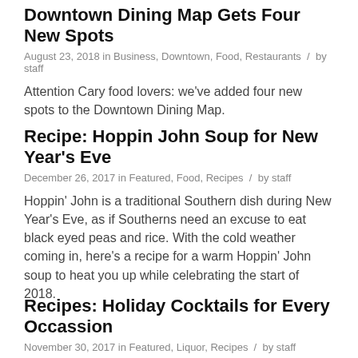Downtown Dining Map Gets Four New Spots
August 23, 2018 in Business, Downtown, Food, Restaurants / by staff
Attention Cary food lovers: we’ve added four new spots to the Downtown Dining Map.
Recipe: Hoppin John Soup for New Year’s Eve
December 26, 2017 in Featured, Food, Recipes / by staff
Hoppin’ John is a traditional Southern dish during New Year’s Eve, as if Southerns need an excuse to eat black eyed peas and rice. With the cold weather coming in, here’s a recipe for a warm Hoppin’ John soup to heat you up while celebrating the start of 2018.
Recipes: Holiday Cocktails for Every Occassion
November 30, 2017 in Featured, Liquor, Recipes / by staff